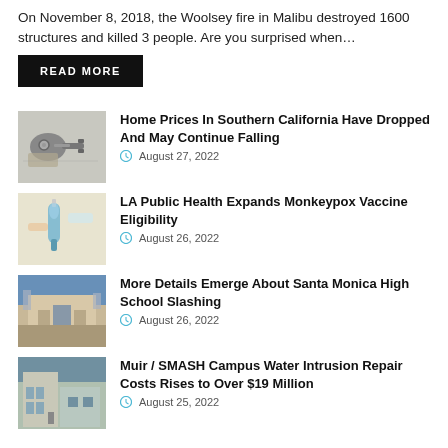On November 8, 2018, the Woolsey fire in Malibu destroyed 1600 structures and killed 3 people. Are you surprised when…
READ MORE
Home Prices In Southern California Have Dropped And May Continue Falling
August 27, 2022
LA Public Health Expands Monkeypox Vaccine Eligibility
August 26, 2022
More Details Emerge About Santa Monica High School Slashing
August 26, 2022
Muir / SMASH Campus Water Intrusion Repair Costs Rises to Over $19 Million
August 25, 2022